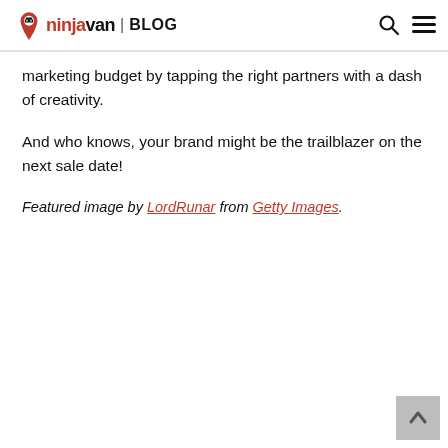ninja van | BLOG
marketing budget by tapping the right partners with a dash of creativity.
And who knows, your brand might be the trailblazer on the next sale date!
Featured image by LordRunar from Getty Images.